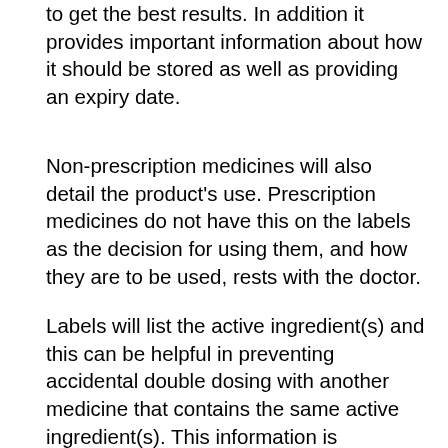to get the best results. In addition it provides important information about how it should be stored as well as providing an expiry date.
Non-prescription medicines will also detail the product's use. Prescription medicines do not have this on the labels as the decision for using them, and how they are to be used, rests with the doctor.
Labels will list the active ingredient(s) and this can be helpful in preventing accidental double dosing with another medicine that contains the same active ingredient(s). This information is important also as some medical conditions, allergies and other medicines may have an impact on which medicine is most suitable for